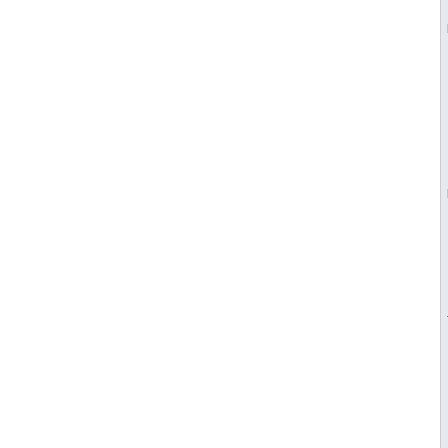Handle 0x0021, DMI type 36, 16 b
Management Device Threshold Data
	Lower Non-critical Thres
	Upper Non-critical Thres
	Lower Critical Threshold
	Upper Critical Threshold
	Lower Non-recoverable Th
	Upper Non-recoverable Th
Handle 0x0022, DMI type 35, 11 b
Management Device Component
	Description: To Be Fille
	Management Device Handle
	Component Handle: 0x001F
	Threshold Handle: 0x0020
Handle 0x0023, DMI type 28, 22 b
Temperature Probe
	Description: LM78A
	Location: <OUT OF SPEC>
	Status: <OUT OF SPEC>
	Maximum Value: Unknown
	Minimum Value: Unknown
	Resolution: Unknown
	Tolerance: Unknown
	Accuracy: Unknown
	OEM-specific Information
	Nominal Value: Unknown
Handle 0x0024, DMI type 36, 16 b
Management Device Threshold Data
	Lower Non-critical Thres